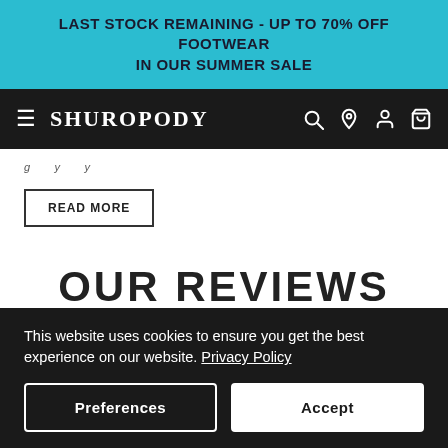LAST STOCK REMAINING - UP TO 70% OFF FOOTWEAR IN OUR SUMMER SALE
SHUROPODY
g...y...y...
READ MORE
OUR REVIEWS
This website uses cookies to ensure you get the best experience on our website. Privacy Policy
Preferences
Accept